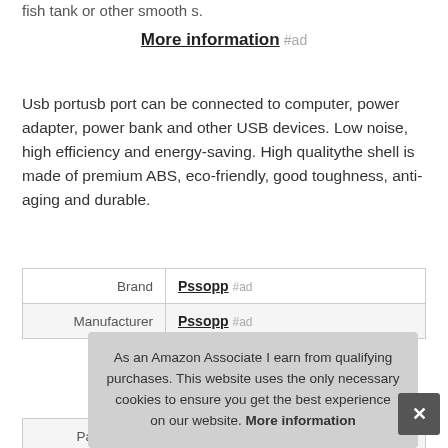fish tank or other smooth s.
More information #ad
Usb portusb port can be connected to computer, power adapter, power bank and other USB devices. Low noise, high efficiency and energy-saving. High qualitythe shell is made of premium ABS, eco-friendly, good toughness, anti-aging and durable.
| Brand | Pssopp #ad |
| Manufacturer | Pssopp #ad |
| Part Number | Pssopp7e6xmdqiop |
As an Amazon Associate I earn from qualifying purchases. This website uses the only necessary cookies to ensure you get the best experience on our website. More information